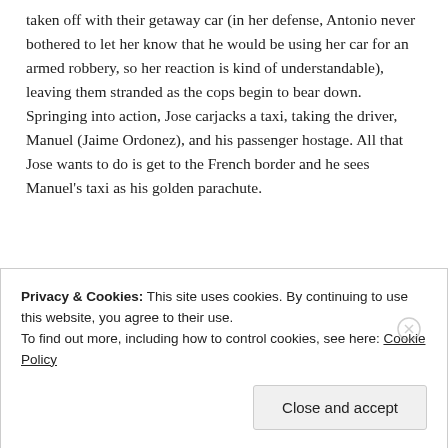taken off with their getaway car (in her defense, Antonio never bothered to let her know that he would be using her car for an armed robbery, so her reaction is kind of understandable), leaving them stranded as the cops begin to bear down. Springing into action, Jose carjacks a taxi, taking the driver, Manuel (Jaime Ordonez), and his passenger hostage. All that Jose wants to do is get to the French border and he sees Manuel's taxi as his golden parachute.
REPORT THIS AD
Privacy & Cookies: This site uses cookies. By continuing to use this website, you agree to their use.
To find out more, including how to control cookies, see here: Cookie Policy
Close and accept